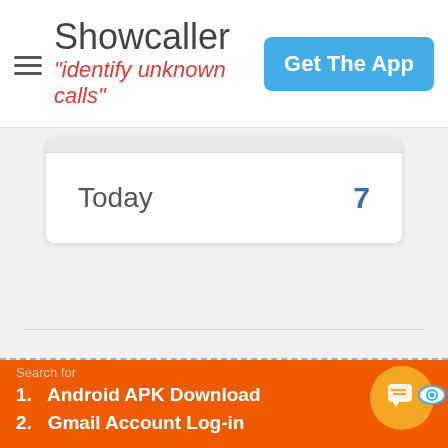Showcaller | "identify unknown calls" | Get The App
|  |  |
| --- | --- |
| Today | 7 |
Search for
1. Android APK Download
2. Gmail Account Log-in